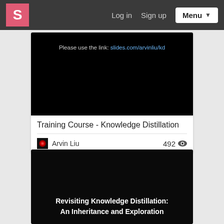S  Log in  Sign up  Menu
[Figure (screenshot): Black slide thumbnail showing text: Please use the link: slides.com/arvinliu/kd]
Training Course - Knowledge Distillation
Arvin Liu  492 views
[Figure (screenshot): Black slide thumbnail showing bold white text: Revisiting Knowledge Distillation: An Inheritance and Exploration]